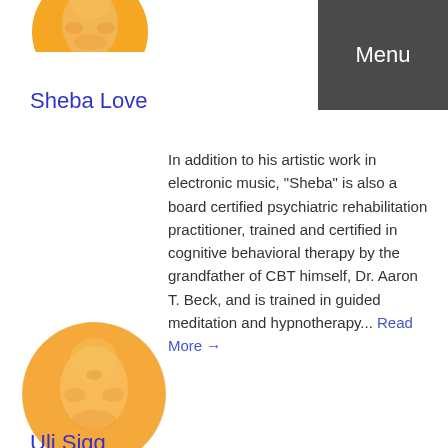[Figure (photo): Circular avatar photo of Sheba Love, partially cropped at top, showing an orange/golden toned face]
Menu
Sheba Love
In addition to his artistic work in electronic music, "Sheba" is also a board certified psychiatric rehabilitation practitioner, trained and certified in cognitive behavioral therapy by the grandfather of CBT himself, Dr. Aaron T. Beck, and is trained in guided meditation and hypnotherapy... Read More →
[Figure (photo): Circular avatar photo of Uli Sigg, showing an orange/golden toned face]
Uli Sigg